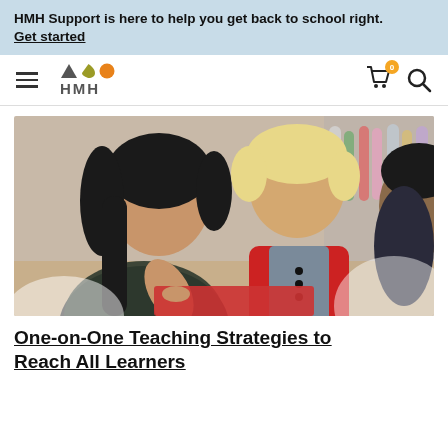HMH Support is here to help you get back to school right. Get started
[Figure (logo): HMH logo with geometric shapes (triangle, leaf, circle) in dark gray, orange, and gold above the text HMH]
[Figure (photo): A female teacher with long dark hair looks down and points at a book or tablet with a young blonde boy in a red vest shirt, with art supplies in the background]
One-on-One Teaching Strategies to Reach All Learners